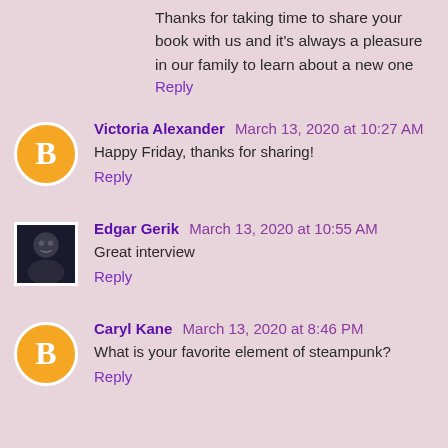Thanks for taking time to share your book with us and it's always a pleasure in our family to learn about a new one
Reply
Victoria Alexander  March 13, 2020 at 10:27 AM
Happy Friday, thanks for sharing!
Reply
Edgar Gerik  March 13, 2020 at 10:55 AM
Great interview
Reply
Caryl Kane  March 13, 2020 at 8:46 PM
What is your favorite element of steampunk?
Reply